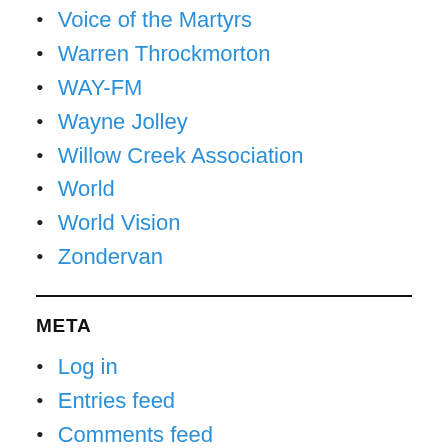Voice of the Martyrs
Warren Throckmorton
WAY-FM
Wayne Jolley
Willow Creek Association
World
World Vision
Zondervan
META
Log in
Entries feed
Comments feed